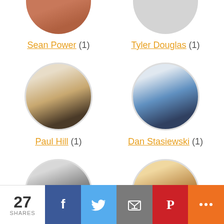[Figure (photo): Partial circular avatar photo of Sean Power at top left]
Sean Power (1)
[Figure (photo): Partial circular avatar photo of Tyler Douglas at top right]
Tyler Douglas (1)
[Figure (photo): Circular avatar photo of Paul Hill]
Paul Hill (1)
[Figure (photo): Circular avatar photo of Dan Stasiewski]
Dan Stasiewski (1)
[Figure (photo): Circular avatar black and white photo of Dan Tynski]
Dan Tynski (1)
[Figure (photo): Circular avatar photo of Justin Park]
Justin Park (1)
27 SHARES  [Facebook] [Twitter] [Email] [Pinterest] [More]